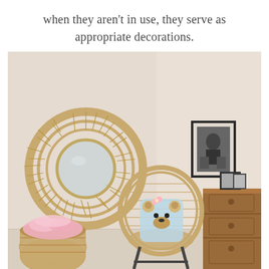when they aren't in use, they serve as appropriate decorations.
[Figure (photo): Interior corner of a nursery or bedroom with beige/cream walls. On the left wall hangs a large round rattan/wicker sunburst mirror. On the right wall hangs a small framed black and white photograph. In the corner sits a rounded rattan chair with a teddy bear decorative pillow. To the right is a wooden dresser with small framed photos on top. In the lower left is a rattan basket with a pink fluffy blanket/fur.]